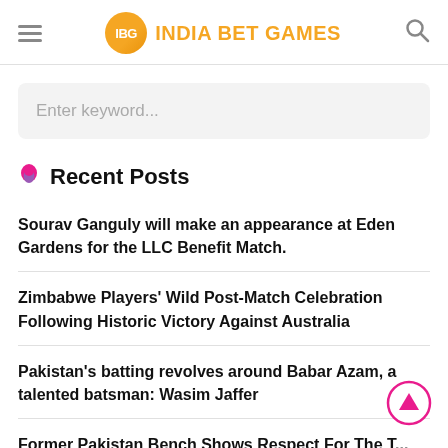IBG INDIA BET GAMES
Enter keyword...
Recent Posts
Sourav Ganguly will make an appearance at Eden Gardens for the LLC Benefit Match.
Zimbabwe Players' Wild Post-Match Celebration Following Historic Victory Against Australia
Pakistan's batting revolves around Babar Azam, a talented batsman: Wasim Jaffer
Former Pakistan Bench Shows Respect For The T...